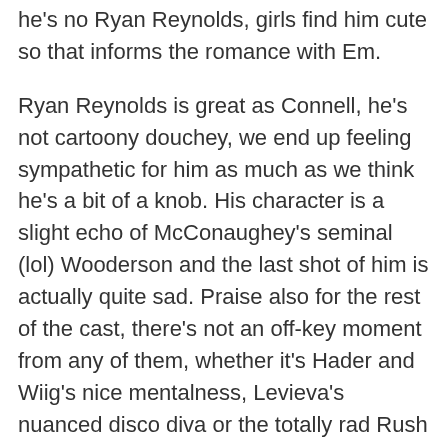he's no Ryan Reynolds, girls find him cute so that informs the romance with Em.
Ryan Reynolds is great as Connell, he's not cartoony douchey, we end up feeling sympathetic for him as much as we think he's a bit of a knob. His character is a slight echo of McConaughey's seminal (lol) Wooderson and the last shot of him is actually quite sad. Praise also for the rest of the cast, there's not an off-key moment from any of them, whether it's Hader and Wiig's nice mentalness, Levieva's nuanced disco diva or the totally rad Rush drum-solo. Dude.
So I'm happy. But I'm puzzled. I'm puzzled because I turned 21 in 1987 and so this film is essentially about my generation. And I didn't really get a sense of that time from it. There were some nice soundtrack touches with Hüsker Dü, The Cure and